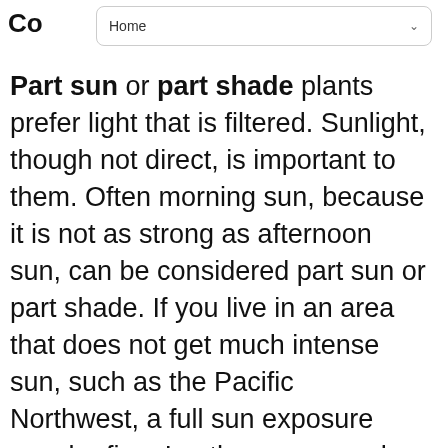Co
Home
Part sun or part shade plants prefer light that is filtered. Sunlight, though not direct, is important to them. Often morning sun, because it is not as strong as afternoon sun, can be considered part sun or part shade. If you live in an area that does not get much intense sun, such as the Pacific Northwest, a full sun exposure may be fine. In other areas such as Florida, plant in a location where afternoon shade will be received.
Conditions : Types of Pruning
Types of pruning include: pinching, thinning